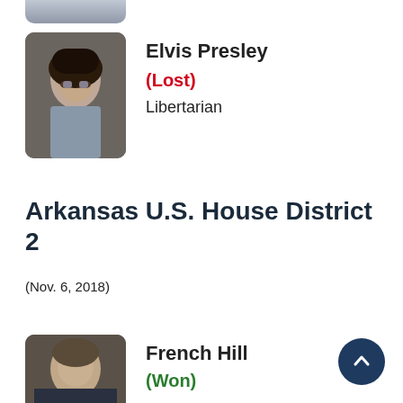[Figure (photo): Partial photo of a candidate (previous entry, cropped at top of page)]
Elvis Presley
(Lost)
Libertarian
Arkansas U.S. House District 2
(Nov. 6, 2018)
French Hill
(Won)